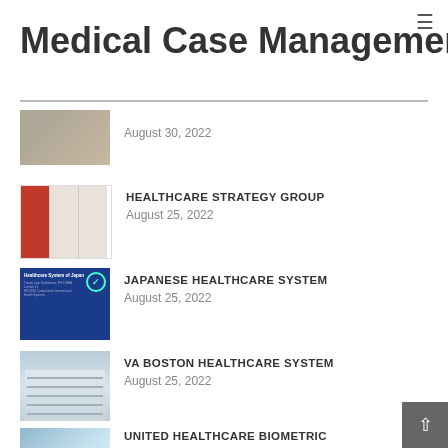Medical Case Management
[Figure (screenshot): Partial thumbnail of first article, cropped]
August 30, 2022
[Figure (screenshot): Healthcare Strategy Group document thumbnail]
HEALTHCARE STRATEGY GROUP
August 25, 2022
[Figure (screenshot): Japanese Healthcare System slide thumbnail - blue background]
JAPANESE HEALTHCARE SYSTEM
August 25, 2022
[Figure (photo): VA Boston Healthcare System building photo]
VA BOSTON HEALTHCARE SYSTEM
August 25, 2022
[Figure (photo): Stethoscope photo on blue background]
UNITED HEALTHCARE BIOMETRIC SCREENING FORM